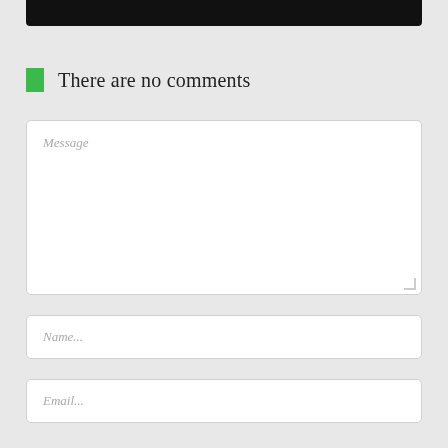[Figure (other): Black bar at top of page]
There are no comments
Message
Name...
Email...